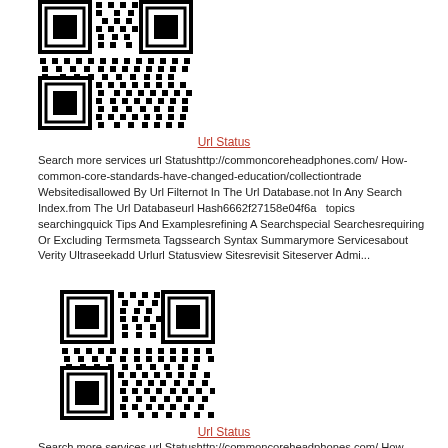[Figure (other): QR code image, black and white matrix barcode]
Url Status
Search more services  url Statushttp://commoncoreheadphones.com/ How-common-core-standards-have-changed-education/collectiontrade Websitedisallowed By Url Filternot In The Url Database.not In Any Search Index.from The Url Databaseurl Hash6662f27158e04f6a   topics searchingquick Tips And Examplesrefining A Searchspecial Searchesrequiring Or Excluding Termsmeta Tagssearch Syntax Summarymore Servicesabout Verity Ultraseekadd Urlurl Statusview Sitesrevisit Siteserver Admi...
[Figure (other): QR code image, black and white matrix barcode]
Url Status
Search more services  url Statushttp://commoncoreheadphones.com/ How-common-core-standards-have-changed-education/collectiontrade Websitedisallowed By Url Filternot In The Url Database.not In Any Search Index.from The Url Databaseurl